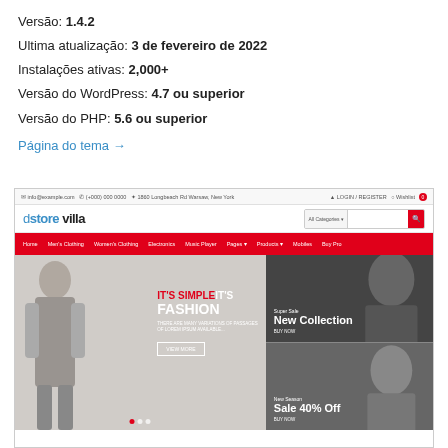Versão: 1.4.2
Ultima atualização: 3 de fevereiro de 2022
Instalações ativas: 2,000+
Versão do WordPress: 4.7 ou superior
Versão do PHP: 5.6 ou superior
Página do tema →
[Figure (screenshot): Screenshot of the Store Villa WordPress theme showing the website header with logo, navigation bar in red with menu items (Home, Men's Clothing, Women's Clothing, Electronics, Music Player, Pages, Products, Mobiles, Buy Pro), a hero section with a woman holding a phone and text 'IT'S SIMPLE IT'S FASHION', and two promotional panels on the right showing 'New Collection' and 'Sale 40% Off'.]